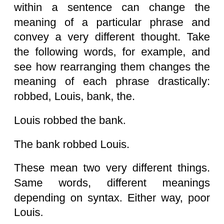within a sentence can change the meaning of a particular phrase and convey a very different thought. Take the following words, for example, and see how rearranging them changes the meaning of each phrase drastically: robbed, Louis, bank, the.
Louis robbed the bank.
The bank robbed Louis.
These mean two very different things. Same words, different meanings depending on syntax. Either way, poor Louis.
I've noticed an interesting phenomenon when conducting cognitive testing and